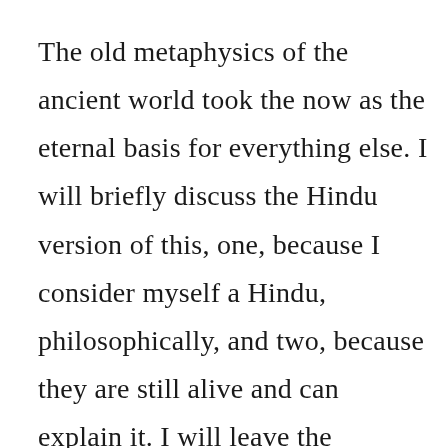The old metaphysics of the ancient world took the now as the eternal basis for everything else. I will briefly discuss the Hindu version of this, one, because I consider myself a Hindu, philosophically, and two, because they are still alive and can explain it. I will leave the Sanskrit terms out of it.
What do I mean by the eternal now? It is that in which the past, present, and future